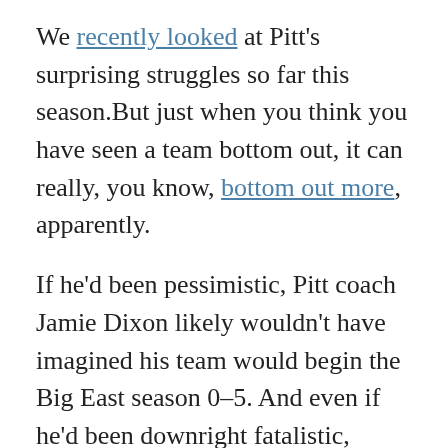We recently looked at Pitt's surprising struggles so far this season.But just when you think you have seen a team bottom out, it can really, you know, bottom out more, apparently.
If he'd been pessimistic, Pitt coach Jamie Dixon likely wouldn't have imagined his team would begin the Big East season 0–5. And even if he'd been downright fatalistic, there's no chance he ever would have anticipated scoring just 39 points and losing by 23 at home to Rutgers to reach that 0–5 record.
How bad was the Pitt offense? Historically bad, it turned out. The Panthers managed just 19 points at the half on an unreal 4-of-32 shooting. Pitt then came